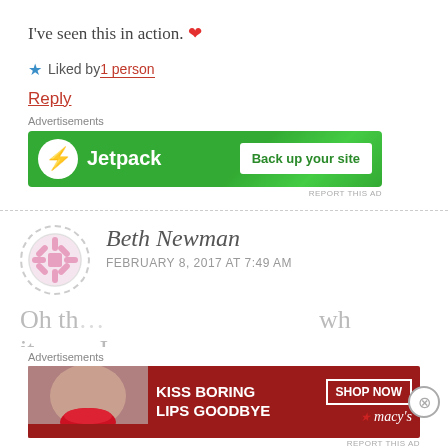I've seen this in action. ❤
★ Liked by 1 person
Reply
Advertisements
[Figure (other): Jetpack advertisement banner: green background with Jetpack logo and 'Back up your site' button]
Beth Newman
FEBRUARY 8, 2017 AT 7:49 AM
Advertisements
[Figure (other): Macy's advertisement banner: 'KISS BORING LIPS GOODBYE' with SHOP NOW button and Macy's logo]